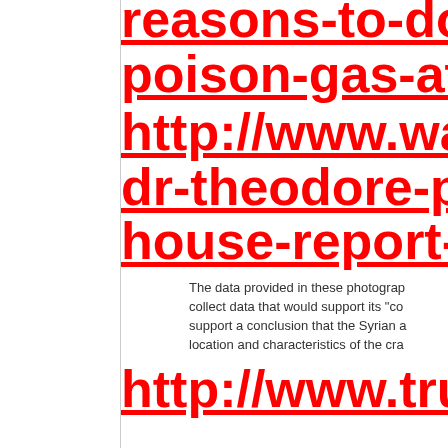reasons-to-doub
poison-gas-atta
http://www.wash
dr-theodore-pos
house-report-sy
The data provided in these photographs collect data that would support its "co support a conclusion that the Syrian a location and characteristics of the cra
http://www.truth